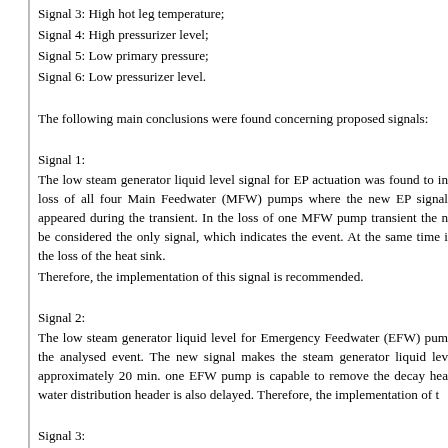Signal 3: High hot leg temperature;
Signal 4: High pressurizer level;
Signal 5: Low primary pressure;
Signal 6: Low pressurizer level.
The following main conclusions were found concerning proposed signals:
Signal 1:
The low steam generator liquid level signal for EP actuation was found to in loss of all four Main Feedwater (MFW) pumps where the new EP signal appeared during the transient. In the loss of one MFW pump transient the n be considered the only signal, which indicates the event. At the same time i the loss of the heat sink.
Therefore, the implementation of this signal is recommended.
Signal 2:
The low steam generator liquid level for Emergency Feedwater (EFW) pum the analysed event. The new signal makes the steam generator liquid lev approximately 20 min. one EFW pump is capable to remove the decay hea water distribution header is also delayed. Therefore, the implementation of t
Signal 3:
The high hot leg temperature signal for EP actuation enhances safety margin